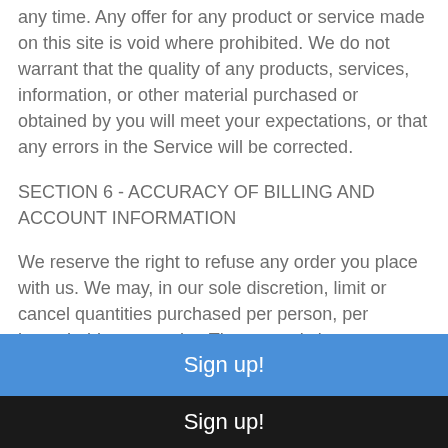any time. Any offer for any product or service made on this site is void where prohibited. We do not warrant that the quality of any products, services, information, or other material purchased or obtained by you will meet your expectations, or that any errors in the Service will be corrected.
SECTION 6 - ACCURACY OF BILLING AND ACCOUNT INFORMATION
We reserve the right to refuse any order you place with us. We may, in our sole discretion, limit or cancel quantities purchased per person, per household or per order. These restrictions may include orders placed by or
Sign up!
Sign up!